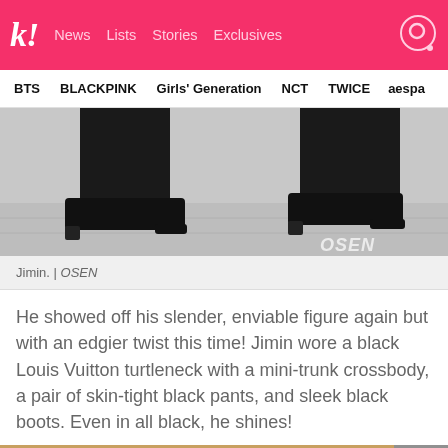koreaboo | News | Lists | Stories | Exclusives
BTS | BLACKPINK | Girls' Generation | NCT | TWICE | aespa
[Figure (photo): Close-up photo of Jimin's legs walking, wearing black skin-tight pants and sleek black heeled boots on a light pavement. OSEN watermark in lower right corner.]
Jimin. | OSEN
He showed off his slender, enviable figure again but with an edgier twist this time! Jimin wore a black Louis Vuitton turtleneck with a mini-trunk crossbody, a pair of skin-tight black pants, and sleek black boots. Even in all black, he shines!
[Figure (photo): Partially visible bottom image, cropped, showing warm tan/brown tones on left and grey on right.]